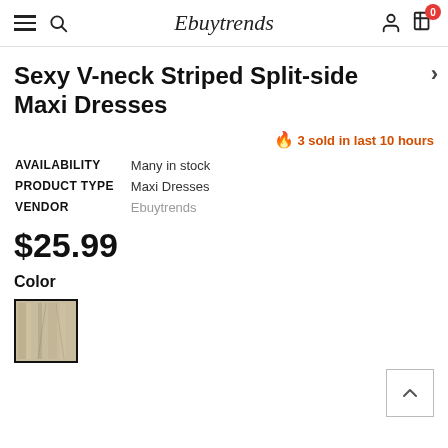Ebuytrends
Sexy V-neck Striped Split-side Maxi Dresses
🔥 3 sold in last 10 hours
| AVAILABILITY | Many in stock |
| PRODUCT TYPE | Maxi Dresses |
| VENDOR | Ebuytrends |
$25.99
Color
[Figure (photo): Color swatch thumbnail showing striped dress fabric]